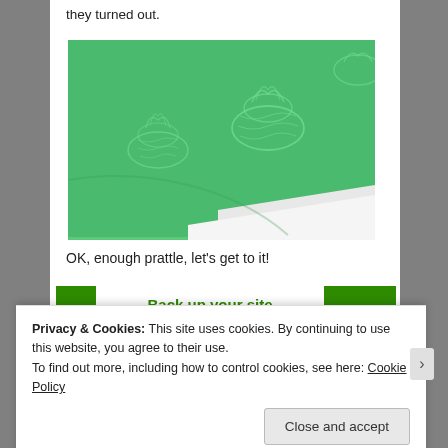they turned out.
[Figure (photo): Close-up photo of green fabric with embossed pineapple pattern, fabric laid on beige background with white paper or fabric underneath.]
OK, enough prattle, let's get to it!
Back up your site
Privacy & Cookies: This site uses cookies. By continuing to use this website, you agree to their use.
To find out more, including how to control cookies, see here: Cookie Policy
Close and accept